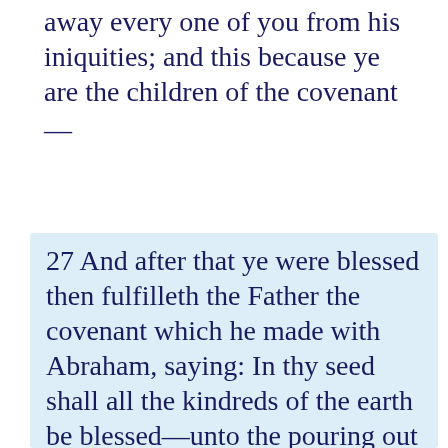away every one of you from his iniquities; and this because ye are the children of the covenant —
27 And after that ye were blessed then fulfilleth the Father the covenant which he made with Abraham, saying: In thy seed shall all the kindreds of the earth be blessed—unto the pouring out of the Holy Ghost through me upon the Gentiles, which blessing upon the Gentiles shall make them mighty above all, unto the scattering of my people, O house of